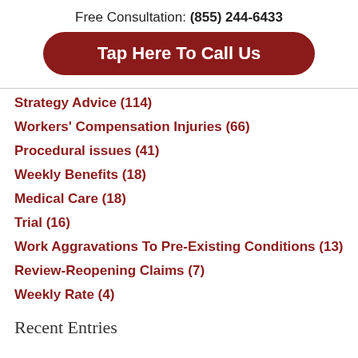Free Consultation: (855) 244-6433
Tap Here To Call Us
Strategy Advice (114)
Workers' Compensation Injuries (66)
Procedural issues (41)
Weekly Benefits (18)
Medical Care (18)
Trial (16)
Work Aggravations To Pre-Existing Conditions (13)
Review-Reopening Claims (7)
Weekly Rate (4)
Recent Entries